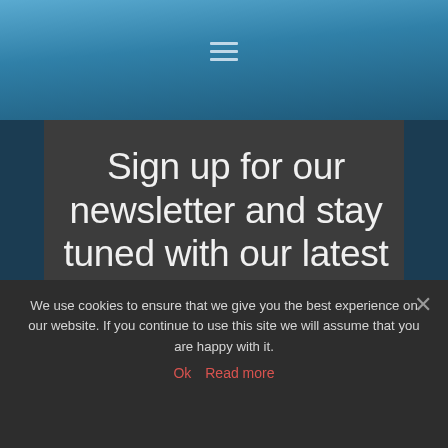[Figure (screenshot): Website header with blue gradient background and hamburger menu icon (three horizontal lines) centered at top]
Sign up for our newsletter and stay tuned with our latest news!
[Figure (other): Red/coral colored rectangular button element]
We use cookies to ensure that we give you the best experience on our website. If you continue to use this site we will assume that you are happy with it.
Ok  Read more